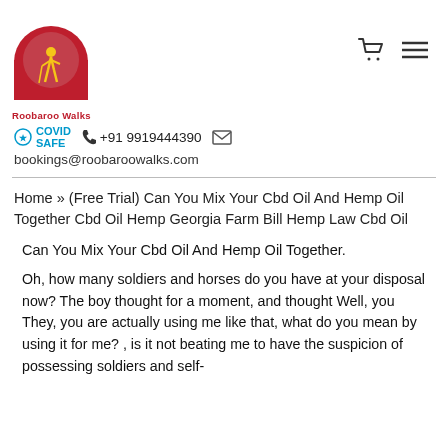[Figure (logo): Roobaroo Walks logo — red arched doorway with a yellow walking figure, text 'Roobaroo Walks' in red below]
COVID SAFE  +91 9919444390  [email icon]
bookings@roobaroowalks.com
Home » (Free Trial) Can You Mix Your Cbd Oil And Hemp Oil Together Cbd Oil Hemp Georgia Farm Bill Hemp Law Cbd Oil
Can You Mix Your Cbd Oil And Hemp Oil Together.
Oh, how many soldiers and horses do you have at your disposal now? The boy thought for a moment, and thought Well, you They, you are actually using me like that, what do you mean by using it for me? , is it not beating me to have the suspicion of possessing soldiers and self-